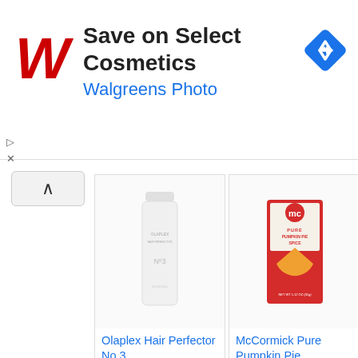[Figure (screenshot): Walgreens ad banner with logo, 'Save on Select Cosmetics' text, 'Walgreens Photo' subtitle, and a blue navigation diamond icon]
[Figure (screenshot): Amazon product listing for Olaplex Hair Perfector No 3 at $30.00 with Prime badge and Shop now button]
[Figure (screenshot): Amazon product listing for McCormick Pure Pumpkin Pie Spice at $2.06 with Prime badge and Shop now button]